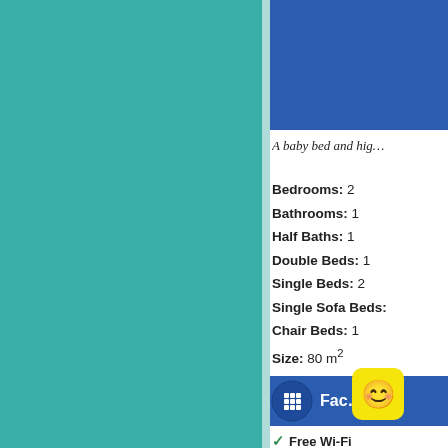[Figure (photo): Teal/green decorative left panel background]
[Figure (photo): Blue rectangular image at top right, partially visible]
A baby bed and hig...
Bedrooms: 2
Bathrooms: 1
Half Baths: 1
Double Beds: 1
Single Beds: 2
Single Sofa Beds:
Chair Beds: 1
Size: 80 m²
[Figure (infographic): Facilities section bar with grid icon, text Fac... and yellow emoji badge]
Free Wi-Fi